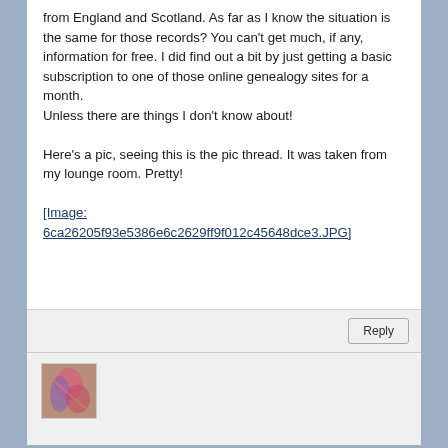from England and Scotland. As far as I know the situation is the same for those records? You can't get much, if any, information for free. I did find out a bit by just getting a basic subscription to one of those online genealogy sites for a month.
Unless there are things I don't know about!

Here's a pic, seeing this is the pic thread. It was taken from my lounge room. Pretty!
[Image: 6ca26205f93e5386e6c2629ff9f012c45648dce3.JPG]
Reply
[Figure (photo): Small avatar thumbnail image showing colorful abstract or figurative image in pink/blue tones]